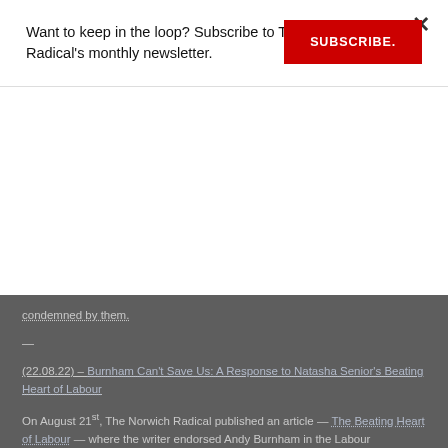Want to keep in the loop? Subscribe to The Norwich Radical's monthly newsletter.
SUBSCRIBE.
condemned by them.
—
(22.08.22) – Burnham Can't Save Us: A Response to Natasha Senior's Beating Heart of Labour
On August 21st, The Norwich Radical published an article — The Beating Heart of Labour — where the writer endorsed Andy Burnham in the Labour Leadership Election. Over the next 1,000 words, I intend to address the primary arguments in that article and why I believe them to be fundamentally wrong; why I believe Andy Burnham to be just as damaging to the Labour Party, its electoral prospects and likewise the country as Yvette Cooper and Liz Kendall, and why Jeremy Corbyn, albeit far from a political panacea, is without doubt the best candidate in the election and therefore the arguments